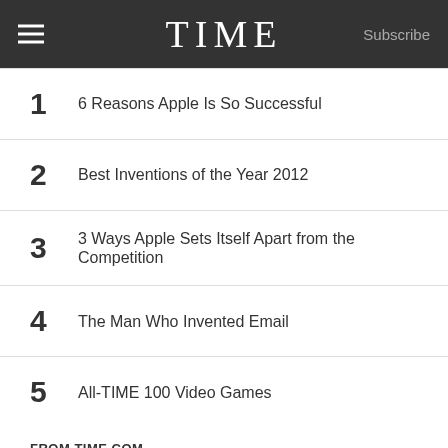TIME | Subscribe
1 - 6 Reasons Apple Is So Successful
2 - Best Inventions of the Year 2012
3 - 3 Ways Apple Sets Itself Apart from the Competition
4 - The Man Who Invented Email
5 - All-TIME 100 Video Games
FROM TIME.COM
CONNECT WITH TIME
Follow @TIME  19.3M followers